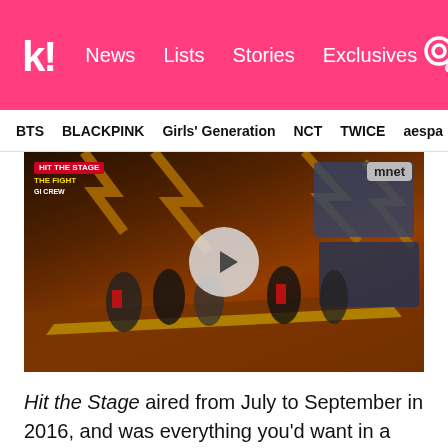k! News | Lists | Stories | Exclusives
BTS | BLACKPINK | Girls' Generation | NCT | TWICE | aespa
[Figure (screenshot): Video thumbnail from Mnet's 'Hit the Stage: The Fight' dance competition show, showing dancers performing on a dramatic orange and black stage with lightning bolt patterns. A circular play button is overlaid in the center. Mnet logo in top-right corner.]
Hit the Stage aired from July to September in 2016, and was everything you'd want in a dance competition show. It celebrated the art of dance with many of K-Pop's best dancers, who viewers